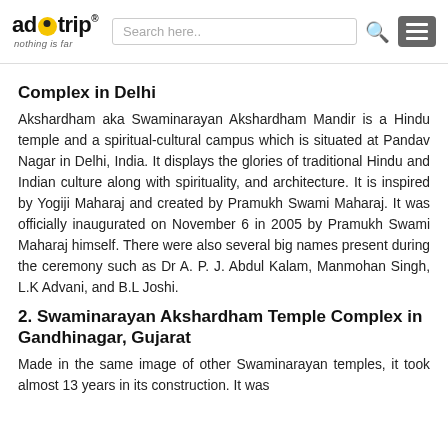adotrip nothing is far — Search here..
Complex in Delhi
Akshardham aka Swaminarayan Akshardham Mandir is a Hindu temple and a spiritual-cultural campus which is situated at Pandav Nagar in Delhi, India. It displays the glories of traditional Hindu and Indian culture along with spirituality, and architecture. It is inspired by Yogiji Maharaj and created by Pramukh Swami Maharaj. It was officially inaugurated on November 6 in 2005 by Pramukh Swami Maharaj himself. There were also several big names present during the ceremony such as Dr A. P. J. Abdul Kalam, Manmohan Singh, L.K Advani, and B.L Joshi.
2. Swaminarayan Akshardham Temple Complex in Gandhinagar, Gujarat
Made in the same image of other Swaminarayan temples, it took almost 13 years in its construction. It was